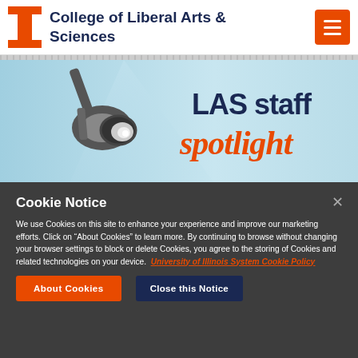College of Liberal Arts & Sciences
[Figure (illustration): LAS staff spotlight banner with spotlight illustration and script text reading 'LAS staff spotlight' on a light blue background]
Cookie Notice
We use Cookies on this site to enhance your experience and improve our marketing efforts. Click on “About Cookies” to learn more. By continuing to browse without changing your browser settings to block or delete Cookies, you agree to the storing of Cookies and related technologies on your device. University of Illinois System Cookie Policy